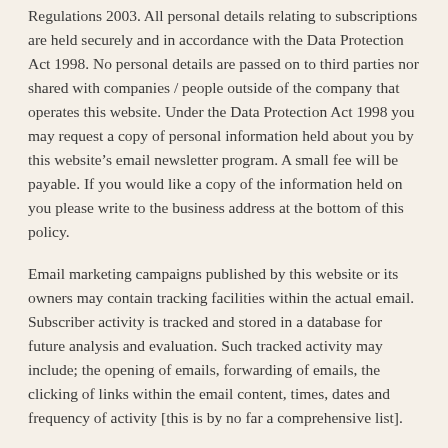Regulations 2003. All personal details relating to subscriptions are held securely and in accordance with the Data Protection Act 1998. No personal details are passed on to third parties nor shared with companies / people outside of the company that operates this website. Under the Data Protection Act 1998 you may request a copy of personal information held about you by this website’s email newsletter program. A small fee will be payable. If you would like a copy of the information held on you please write to the business address at the bottom of this policy.
Email marketing campaigns published by this website or its owners may contain tracking facilities within the actual email. Subscriber activity is tracked and stored in a database for future analysis and evaluation. Such tracked activity may include; the opening of emails, forwarding of emails, the clicking of links within the email content, times, dates and frequency of activity [this is by no far a comprehensive list].
This information is used to refine future email campaigns and supply the user with more relevant content based around their activity.